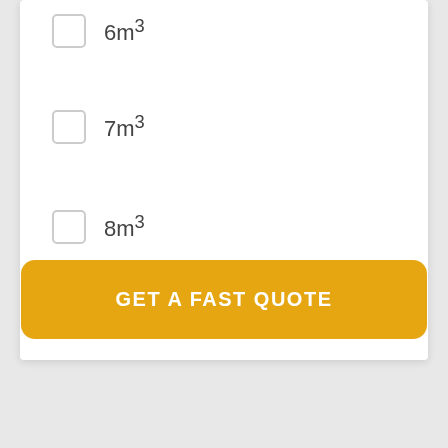6m³
7m³
8m³
10m³
GET A FAST QUOTE